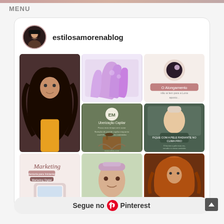MENU
[Figure (screenshot): Pinterest profile page for 'estilosamorenablog' showing a grid of beauty, hair, and nail images, with a 'Segue no Pinterest' button at the bottom.]